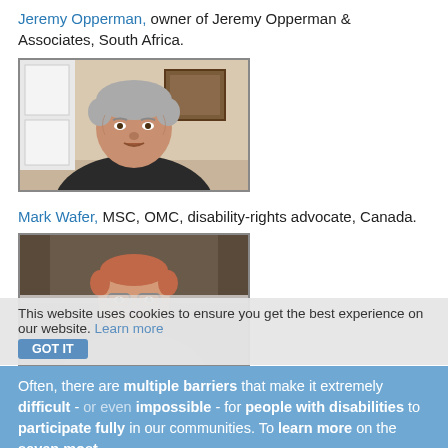Jeremy Opperman, owner of Jeremy Opperman & Associates, South Africa.
[Figure (photo): Video thumbnail of Jeremy Opperman, an older man with gray hair, in front of a room with white cabinets and a framed picture on the wall.]
Mark Wafer, MSC, OMC, disability-rights advocate, Canada.
[Figure (photo): Video thumbnail of Mark Wafer, a man with glasses and reddish hair, in front of a room with a dark background, partially overlaid by a cookie consent banner.]
This website uses cookies to ensure you get the best experience on our website. Learn more
Often, there are multiple barriers that make it extremely difficult - or even impossible - for people with disabilities to participate fully in our communities. To learn more on the seven most